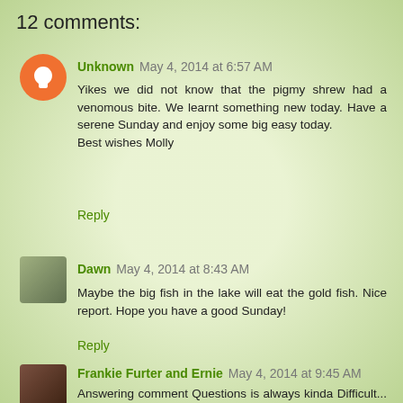12 comments:
Unknown May 4, 2014 at 6:57 AM
Yikes we did not know that the pigmy shrew had a venomous bite. We learnt something new today. Have a serene Sunday and enjoy some big easy today.
Best wishes Molly
Reply
Dawn May 4, 2014 at 8:43 AM
Maybe the big fish in the lake will eat the gold fish. Nice report. Hope you have a good Sunday!
Reply
Frankie Furter and Ernie May 4, 2014 at 9:45 AM
Answering comment Questions is always kinda Difficult... WE tend to go to THEIR Blog and answer... OR now and